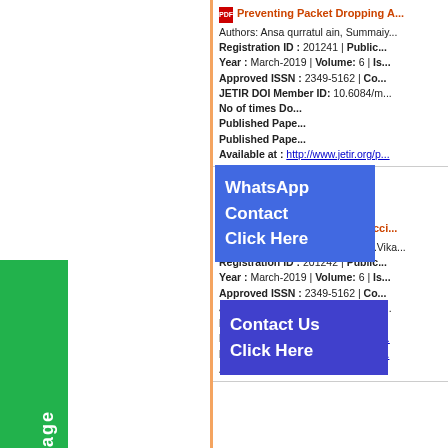[Figure (other): Green Message button on left sidebar with circle icon and vertical text 'Message']
Preventing Packet Dropping A... | Authors: Ansa qurratul ain, Summaiy... | Registration ID: 201241 | Public... | Year: March-2019 | Volume: 6 | Is... | Approved ISSN: 2349-5162 | Co... | JETIR DOI Member ID: 10.6084/m... | No of times Do... | Published Pape... | Published Pape... | Available at: http://www.jetir.org/p...
[Figure (other): WhatsApp Contact Click Here blue overlay button]
[Figure (other): Contact Us Click Here blue overlay button]
Artificial Intelligence for Acci... | Authors: P.Mahendhar, R.Nihal, P.Vika... | Registration ID: 201242 | Public... | Year: March-2019 | Volume: 6 | Is... | Approved ISSN: 2349-5162 | Co... | JETIR DOI Member ID: 10.6084/m... | No of times Downloads: 003000... | Published Paper URL: https://ww... | Published Paper PDF: https://ww... | Available at: http://www.jetir.o...